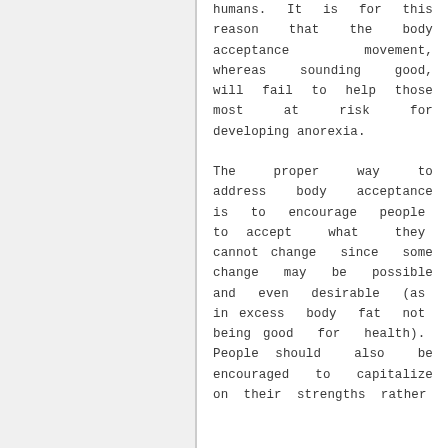humans. It is for this reason that the body acceptance movement, whereas sounding good, will fail to help those most at risk for developing anorexia.

The proper way to address body acceptance is to encourage people to accept what they cannot change since some change may be possible and even desirable (as in excess body fat not being good for health). People should also be encouraged to capitalize on their strengths rather